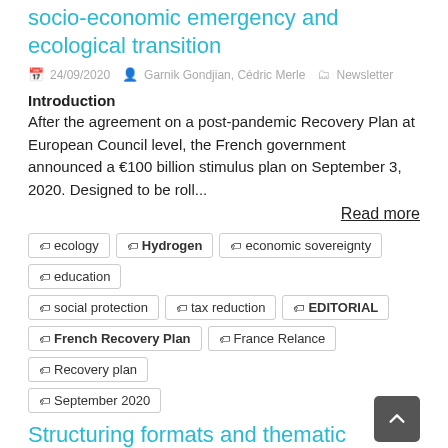socio-economic emergency and ecological transition
24/09/2020  Garnik Gondjian, Cédric Merle  Newsletter
Introduction
After the agreement on a post-pandemic Recovery Plan at European Council level, the French government announced a €100 billion stimulus plan on September 3, 2020. Designed to be roll...
Read more
ecology
Hydrogen
economic sovereignty
education
social protection
tax reduction
EDITORIAL
French Recovery Plan
France Relance
Recovery plan
September 2020
Structuring formats and thematic proliferation: orientation map
29/07/2020  Dominique Blanc, Julien Duquenne  Newsletter
3-minute read